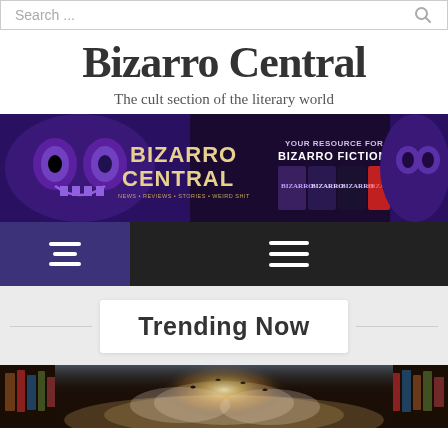Search ...
Bizarro Central
The cult section of the literary world
[Figure (illustration): Bizarro Central banner image with purple/dark theme showing the text BIZARRO CENTRAL YOUR RESOURCE FOR THE BIZARRO FICTION GENRE with illustrated faces and book covers]
[Figure (infographic): Navigation bar with hamburger menu icons on dark background, left section in dark purple/indigo]
Trending Now
[Figure (photo): Photo showing books on shelves with glowing fantasy scene in the middle]